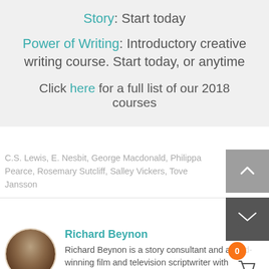Story: Start today
Power of Writing: Introductory creative writing course. Start today, or anytime
Click here for a full list of our 2018 courses
C.S. Lewis, E. Nesbit, George Macdonald, Philippa Pearce, Rosemary Sutcliff, Salley Vickers, Tove Jansson
Richard Beynon
Richard Beynon is a story consultant and award-winning film and television scriptwriter with a long and accomplished career in the industry. He has...